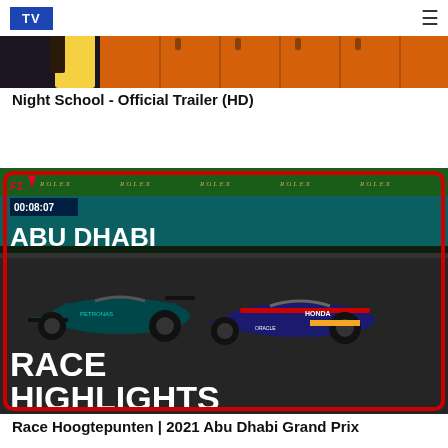TV
[Figure (screenshot): Night School movie trailer thumbnail showing orange locker background scene]
Night School - Official Trailer (HD)
[Figure (screenshot): Formula 1 Abu Dhabi Grand Prix 2021 Race Highlights thumbnail showing two F1 cars racing, with timer 00:08:07, F1 logo, Rolex branding, red border overlay. Text: ABU DHABI, RACE HIGHLIGHTS]
Race Hoogtepunten | 2021 Abu Dhabi Grand Prix